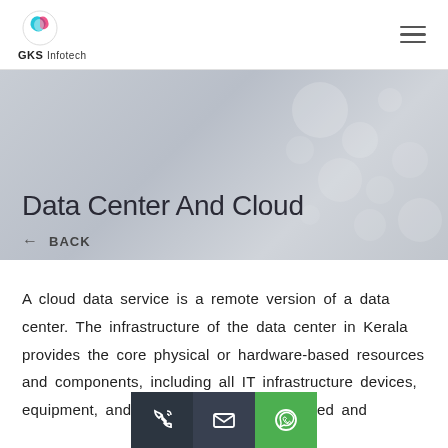GKS Infotech
Data Center And Cloud
← BACK
A cloud data service is a remote version of a data center. The infrastructure of the data center in Kerala provides the core physical or hardware-based resources and components, including all IT infrastructure devices, equipment, and technologies. It is modelled and